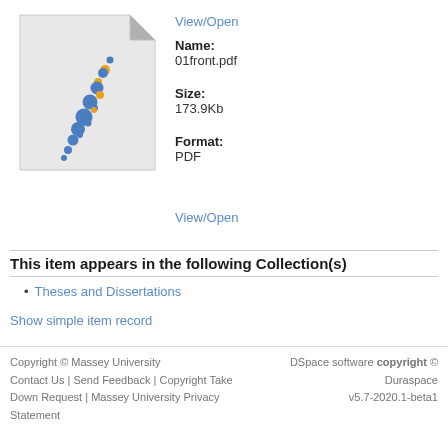[Figure (illustration): PDF file icon with a curled page corner, containing a stylized New Zealand map made of blue and orange circles]
View/Open
Name:
01front.pdf
Size:
173.9Kb
Format:
PDF
View/Open
This item appears in the following Collection(s)
Theses and Dissertations
Show simple item record
Copyright © Massey University
Contact Us | Send Feedback | Copyright Take Down Request | Massey University Privacy Statement
DSpace software copyright © Duraspace v5.7-2020.1-beta1